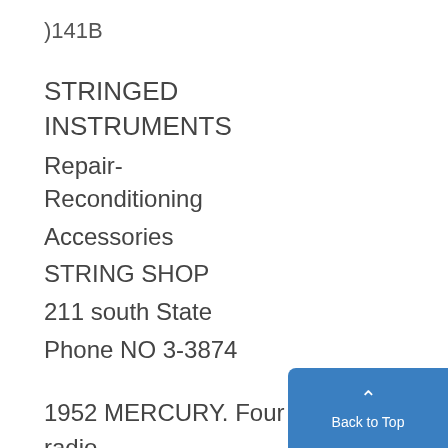)141B
STRINGED INSTRUMENTS
Repair-Reconditioning
Accessories
STRING SHOP
211 south State
Phone NO 3-3874
1952 MERCURY. Four door sedan, radio and heater. Very clean. The big lot across from downtown carp